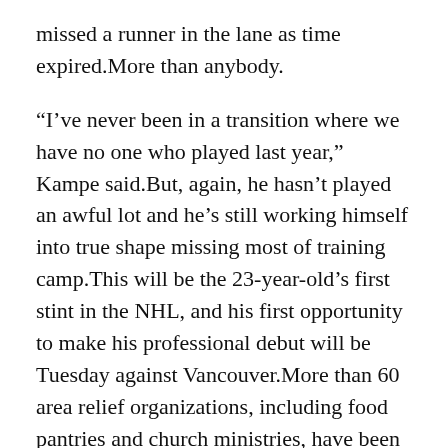missed a runner in the lane as time expired.More than anybody.
“I’ve never been in a transition where we have no one who played last year,” Kampe said.But, again, he hasn’t played an awful lot and he’s still working himself into true shape missing most of training camp.This will be the 23-year-old’s first stint in the NHL, and his first opportunity to make his professional debut will be Tuesday against Vancouver.More than 60 area relief organizations, including food pantries and church ministries, have been identified by Harvesters and will benefit as a result of this year’s event.Any commercial use or distribution without the express consent of